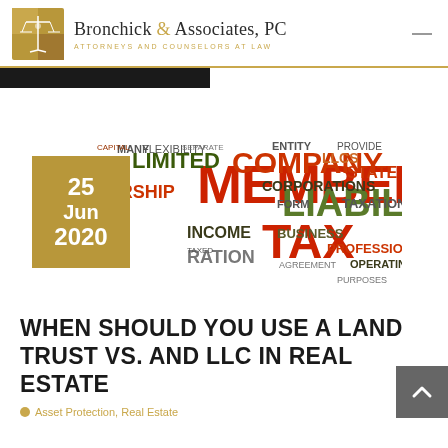Bronchick & Associates, PC — Attorneys and Counselors at Law
[Figure (illustration): Word cloud featuring legal/business entity terms such as MEMBERS, LIABILITY, TAX, COMPANY, LIMITED, PARTNERSHIP, CORPORATIONS, INCOME, LLCS, TAXATION, PROFESSIONAL, BUSINESS, AGREEMENT, OPERATING, FORM, STATE, TAXED, CORPORATION, etc. in various colors (red, dark green, olive, brown). Overlaid with a gold/tan date badge showing '25 Jun 2020'.]
WHEN SHOULD YOU USE A LAND TRUST VS. AND LLC IN REAL ESTATE
Asset Protection, Real Estate